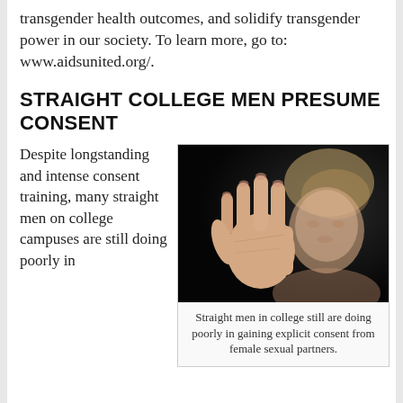transgender health outcomes, and solidify transgender power in our society. To learn more, go to: www.aidsunited.org/.
STRAIGHT COLLEGE MEN PRESUME CONSENT
Despite longstanding and intense consent training, many straight men on college campuses are still doing poorly in
[Figure (photo): A blonde woman holding her hand up in a stop gesture, photographed against a dark background.]
Straight men in college still are doing poorly in gaining explicit consent from female sexual partners.